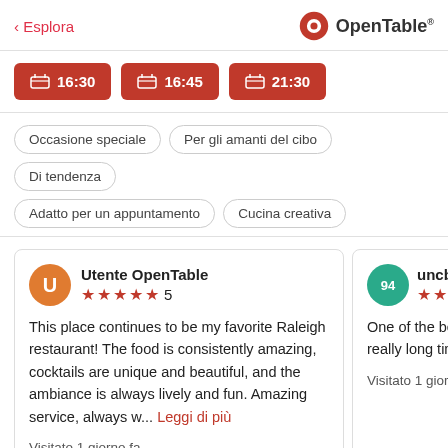< Esplora | OpenTable
16:30
16:45
21:30
Occasione speciale
Per gli amanti del cibo
Di tendenza
Adatto per un appuntamento
Cucina creativa
Utente OpenTable — ★★★★★ 5 — This place continues to be my favorite Raleigh restaurant! The food is consistently amazing, cocktails are unique and beautiful, and the ambiance is always lively and fun. Amazing service, always w... Leggi di più — Visitato 1 giorno fa
uncblue94 — ★★★★★ 5 — One of the best m... really long time. Al — Visitato 1 giorno fa